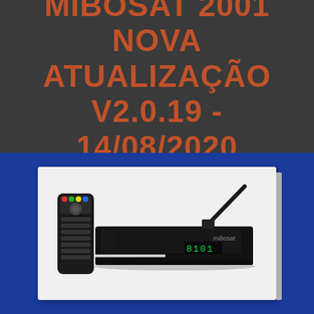MIBOSAT 2001 NOVA ATUALIZAÇÃO V2.0.19 - 14/08/2020
[Figure (photo): Photo of a MIBOSAT 2001 satellite receiver/set-top box (black, flat device with antenna and green LED display) alongside its remote control, displayed on a light gray background card.]